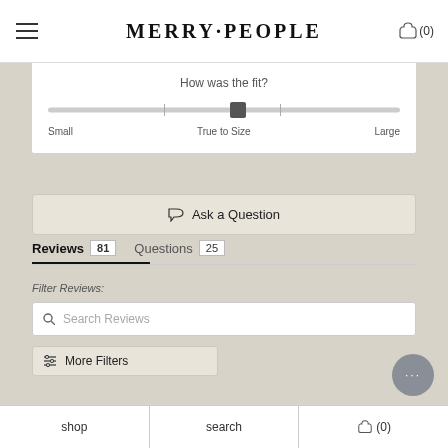MERRY·PEOPLE (0)
How was the fit?
[Figure (infographic): A horizontal slider showing fit scale from Small to Large, with thumb positioned slightly right of center (True to Size)]
Small    True to Size    Large
💬 Ask a Question
Reviews 81   Questions 25
Filter Reviews:
Search Reviews
⚙ More Filters
shop   search   (0)